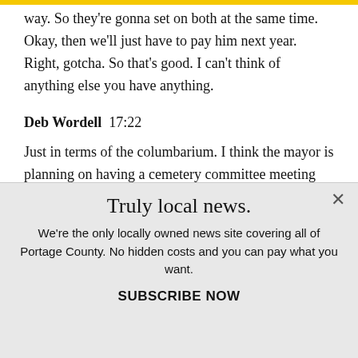way. So they're gonna set on both at the same time. Okay, then we'll just have to pay him next year. Right, gotcha. So that's good. I can't think of anything else you have anything.
Deb Wordell  17:22
Just in terms of the columbarium. I think the mayor is planning on having a cemetery committee meeting soon,
Truly local news.
We're the only locally owned news site covering all of Portage County. No hidden costs and you can pay what you want.
SUBSCRIBE NOW